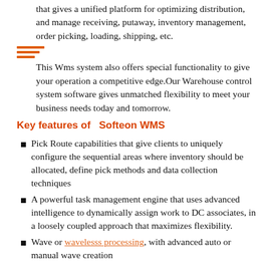that gives a unified platform for optimizing distribution, and manage receiving, putaway, inventory management, order picking, loading, shipping, etc.
This Wms system also offers special functionality to give your operation a competitive edge.Our Warehouse control system software gives unmatched flexibility to meet your business needs today and tomorrow.
Key features of  Softeon WMS
Pick Route capabilities that give clients to uniquely configure the sequential areas where inventory should be allocated, define pick methods and data collection techniques
A powerful task management engine that uses advanced intelligence to dynamically assign work to DC associates, in a loosely coupled approach that maximizes flexibility.
Wave or wavelesss processing, with advanced auto or manual wave creation
...